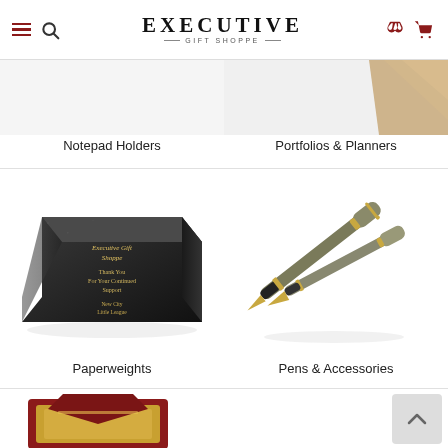[Figure (logo): Executive Gift Shoppe logo with hamburger menu, search icon, phone icon, and cart icon]
[Figure (photo): Partial view of notepad holder product image]
Notepad Holders
[Figure (photo): Partial view of portfolio/planner product image (tan/beige corner visible)]
Portfolios & Planners
[Figure (photo): Black granite paperweight engraved with Executive Gift Shoppe text]
Paperweights
[Figure (photo): Two metallic pens with gold accents on white background]
Pens & Accessories
[Figure (photo): Partial view of a plaque/award product at the bottom of the page]